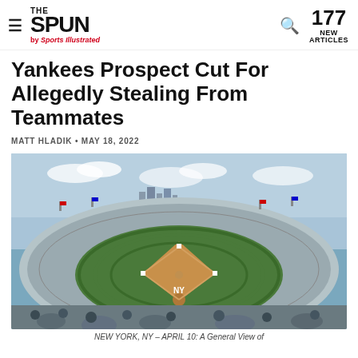THE SPUN by Sports Illustrated — 177 NEW ARTICLES
Yankees Prospect Cut For Allegedly Stealing From Teammates
MATT HLADIK • MAY 18, 2022
[Figure (photo): Aerial/overhead view of Yankee Stadium filled with fans during a baseball game, showing the full field from above, blue sky with clouds, flags along the upper deck, taken on April 10.]
NEW YORK, NY – APRIL 10: A General View of